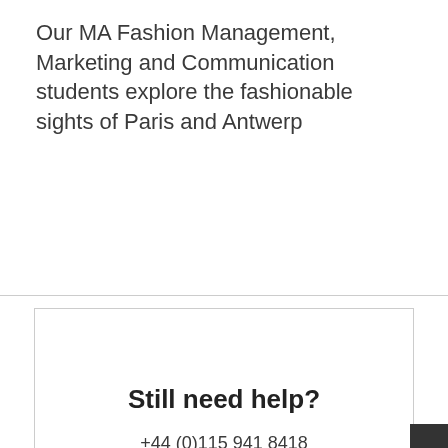Our MA Fashion Management, Marketing and Communication students explore the fashionable sights of Paris and Antwerp
Still need help?
+44 (0)115 941 8418